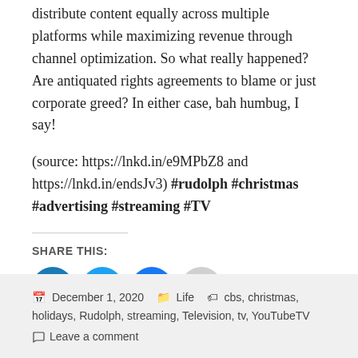distribute content equally across multiple platforms while maximizing revenue through channel optimization. So what really happened? Are antiquated rights agreements to blame or just corporate greed? In either case, bah humbug, I say!
(source: https://lnkd.in/e9MPbZ8 and https://lnkd.in/endsJv3) #rudolph #christmas #advertising #streaming #TV
SHARE THIS:
[Figure (infographic): Four social share buttons: LinkedIn (blue), Twitter (blue), Facebook (blue), Email (gray)]
December 1, 2020  Life  cbs, christmas, holidays, Rudolph, streaming, Television, tv, YouTubeTV  Leave a comment